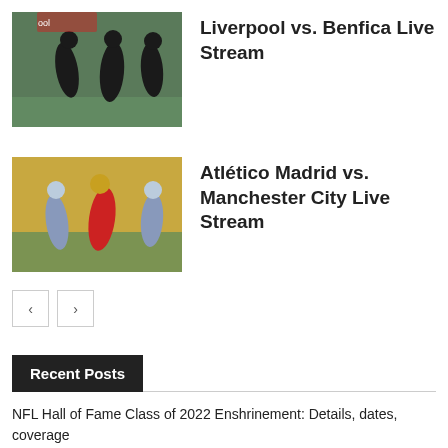[Figure (photo): Soccer players in dark uniforms walking/training on a field]
Liverpool vs. Benfica Live Stream
[Figure (photo): Soccer players in action, one in red jersey and others in light blue/grey jerseys]
Atlético Madrid vs. Manchester City Live Stream
Recent Posts
NFL Hall of Fame Class of 2022 Enshrinement: Details, dates, coverage
how to watch LAFC vs América Live Football In (8/3/2022)